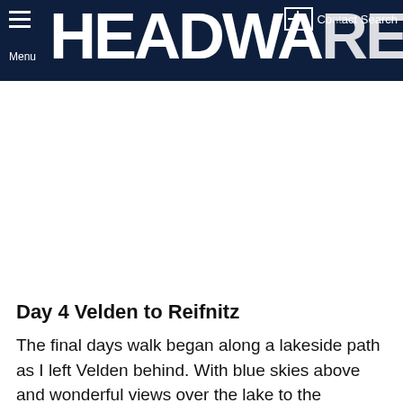HEADWARE Menu Contact Search
[Figure (photo): Large image placeholder area, white/blank, representing a photo that did not load]
Day 4 Velden to Reifnitz
The final days walk began along a lakeside path as I left Velden behind. With blue skies above and wonderful views over the lake to the mountains beyond it...